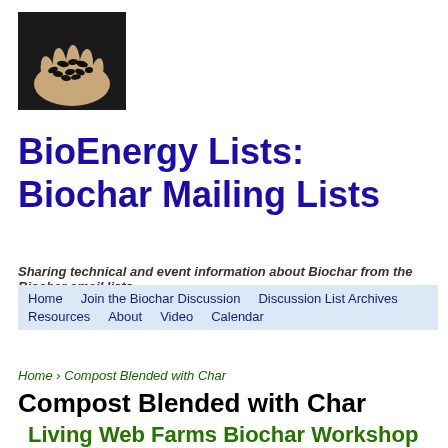[Figure (photo): A hand holding black biochar pellets against a dark background]
BioEnergy Lists: Biochar Mailing Lists
Sharing technical and event information about Biochar from the Biochar email lists
Home | Join the Biochar Discussion | Discussion List Archives | Resources | About | Video | Calendar
Home › Compost Blended with Char
Compost Blended with Char
Living Web Farms Biochar Workshop at Grandview Farm